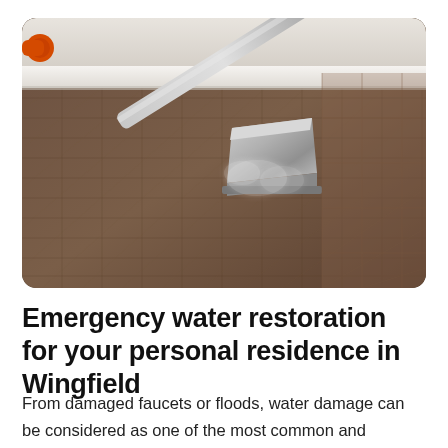[Figure (photo): A professional carpet cleaning machine nozzle/wand being pressed against a dark brown textured carpet near a white baseboard wall. The metal wand head is visible in the center-right of the image with steam/mist visible around it. The carpet has a woven, grid-like pattern in brown/tan tones.]
Emergency water restoration for your personal residence in Wingfield
From damaged faucets or floods, water damage can be considered as one of the most common and potentially harmful problems you can face as a